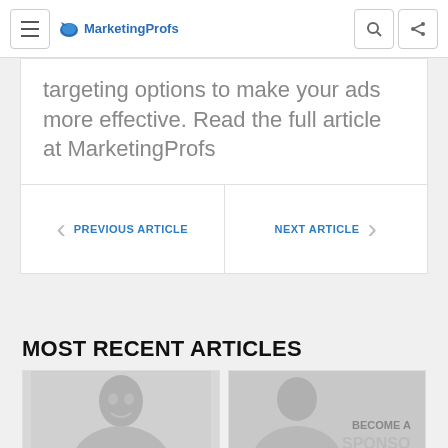MarketingProfs
targeting options to make your ads more effective. Read the full article at MarketingProfs
PREVIOUS ARTICLE
NEXT ARTICLE
MOST RECENT ARTICLES
[Figure (photo): Two article thumbnail images side by side, one showing a person and one showing a sponsor advertisement]